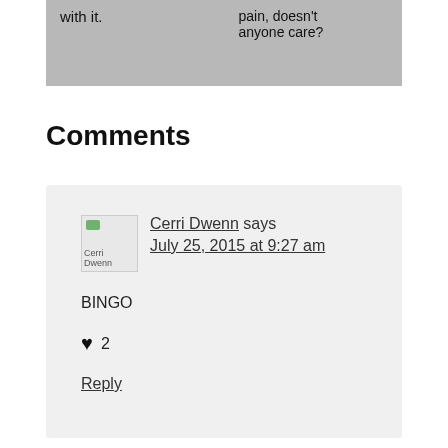[Figure (illustration): Comic strip panel showing two speech bubbles: left bubble says 'with it.' and right bubble says 'pain, doesn't anyone care?']
Comments
Cerri Dwenn says
July 25, 2015 at 9:27 am
BINGO
♥ 2
Reply